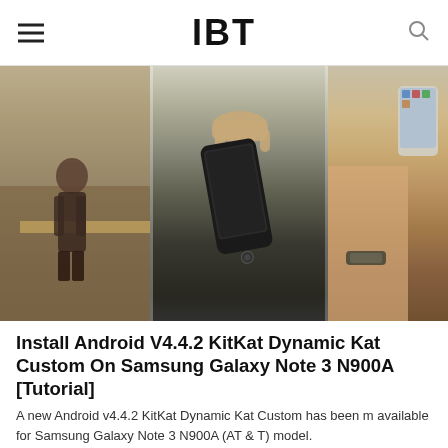IBT
[Figure (photo): Composite image showing Samsung Galaxy Note 3 N900A smartphone being held, with people in background]
Install Android V4.4.2 KitKat Dynamic Kat Custom On Samsung Galaxy Note 3 N900A [Tutorial]
A new Android v4.4.2 KitKat Dynamic Kat Custom has been made available for Samsung Galaxy Note 3 N900A (AT & T) model.
Jul 20, 2014